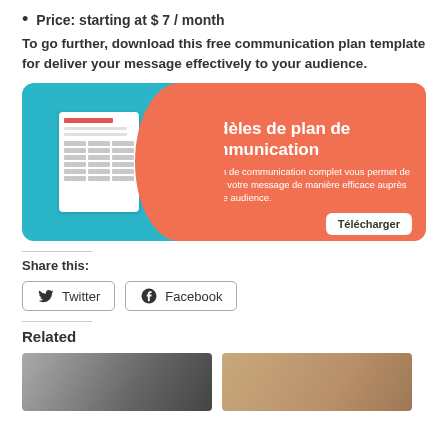Price: starting at $ 7 / month
To go further, download this free communication plan template for deliver your message effectively to your audience.
[Figure (infographic): Banner ad for 'Modèles de plan de communication' with teal left panel showing a document preview, orange right panel with title, description, and a 'Télécharger' button.]
Share this:
Twitter   Facebook
Related
[Figure (photo): Photo of a person using a laptop on a desk]
[Figure (photo): Photo of books or papers on a surface]